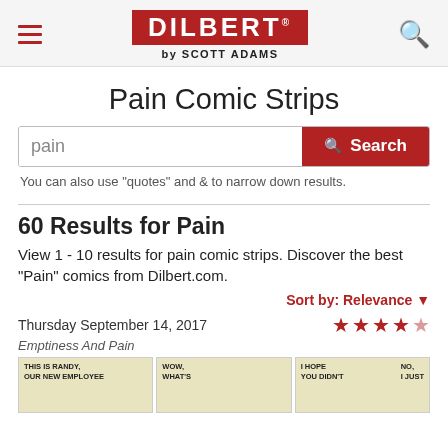DILBERT by SCOTT ADAMS
Pain Comic Strips
pain [search input]
You can also use "quotes" and & to narrow down results.
60 Results for Pain
View 1 - 10 results for pain comic strips. Discover the best "Pain" comics from Dilbert.com.
Sort by: Relevance
Thursday September 14, 2017
Emptiness And Pain
[Figure (illustration): Three comic strip thumbnail panels from Dilbert: panel 1 text 'THIS IS RANDY, OUR NEW EMPLOYEE', panel 2 text 'WOW, WHAT'S', panel 3 text 'I HOPE YOU DIDN'T... NO, I JUST']